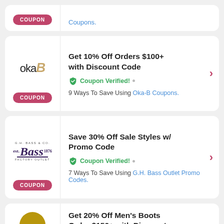[Figure (other): Top partial coupon card showing COUPON badge on left and partial blue link text 'Coupons.' on right]
[Figure (logo): Oka-B logo: 'oka' in black sans-serif and a stylized golden italic B]
Get 10% Off Orders $100+ with Discount Code
Coupon Verified! • 9 Ways To Save Using Oka-B Coupons.
[Figure (logo): G.H. Bass & Co. Factory Outlet logo with purple script Bass text and underline]
Save 30% Off Sale Styles w/ Promo Code
Coupon Verified! • 7 Ways To Save Using G.H. Bass Outlet Promo Codes.
Get 20% Off Men's Boots Order $150+ with Discount